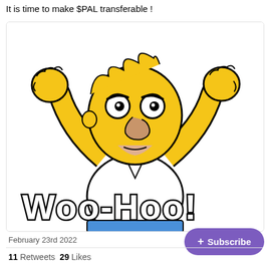It is time to make $PAL transferable !
[Figure (illustration): Homer Simpson Woo-Hoo! meme image with Homer raising both fists in celebration, with large white bold text 'Woo-Hoo!' at the bottom]
February 23rd 2022
11 Retweets  29 Likes